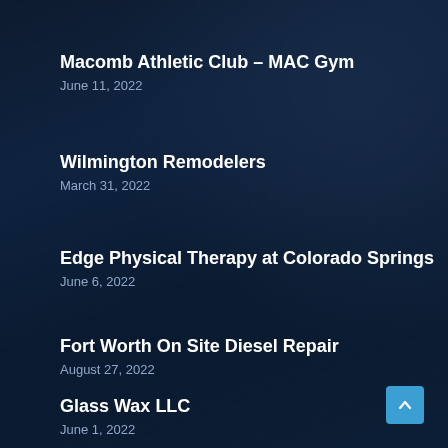Macomb Athletic Club – MAC Gym
June 11, 2022
Wilmington Remodelers
March 31, 2022
Edge Physical Therapy at Colorado Springs
June 6, 2022
Fort Worth On Site Diesel Repair
August 27, 2022
Glass Wax LLC
June 1, 2022